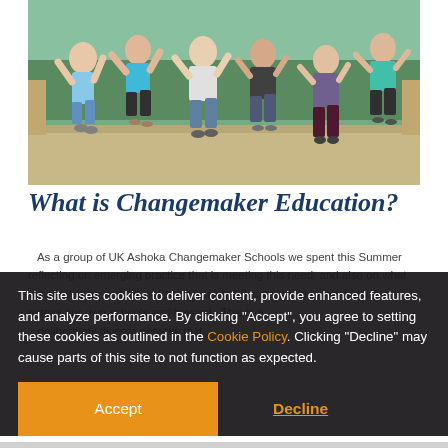[Figure (photo): Group of young people jumping energetically on a wooden bridge or boardwalk, arms raised, outdoors with trees in background. Multiple people in athletic/casual clothing.]
What is Changemaker Education?
As a group of UK Ashoka Changemaker Schools we spent this Summer reflecting on emerging practice that is meeting this need; and also on what we need to be and do as Changemaker Educators and to establish this across our own schools and beyond. This is a deliberately diverse network that...
This site uses cookies to deliver content, provide enhanced features, and analyze performance. By clicking "Accept", you agree to setting these cookies as outlined in the Cookie Policy. Clicking "Decline" may cause parts of this site to not function as expected.